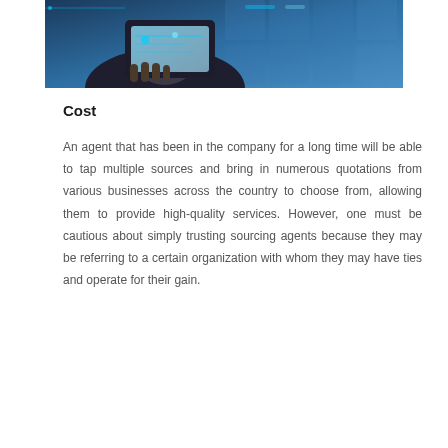[Figure (photo): Person holding a tablet or smartphone with digital interface elements overlaid, blue-toned technology image]
Cost
An agent that has been in the company for a long time will be able to tap multiple sources and bring in numerous quotations from various businesses across the country to choose from, allowing them to provide high-quality services. However, one must be cautious about simply trusting sourcing agents because they may be referring to a certain organization with whom they may have ties and operate for their gain.